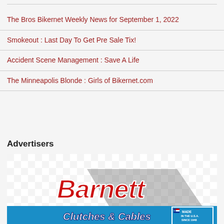The Bros Bikernet Weekly News for September 1, 2022
Smokeout : Last Day To Get Pre Sale Tix!
Accident Scene Management : Save A Life
The Minneapolis Blonde : Girls of Bikernet.com
Advertisers
[Figure (logo): Barnett Clutches & Cables advertisement with checkered flag background and 'Made in the U.S.A. Since 1948' badge]